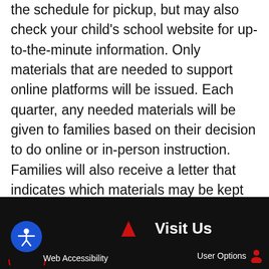the schedule for pickup, but may also check your child's school website for up-to-the-minute information. Only materials that are needed to support online platforms will be issued. Each quarter, any needed materials will be given to families based on their decision to do online or in-person instruction. Families will also receive a letter that indicates which materials may be kept and which materials must be returned to the school.
Web Accessibility   Visit Us   User Options